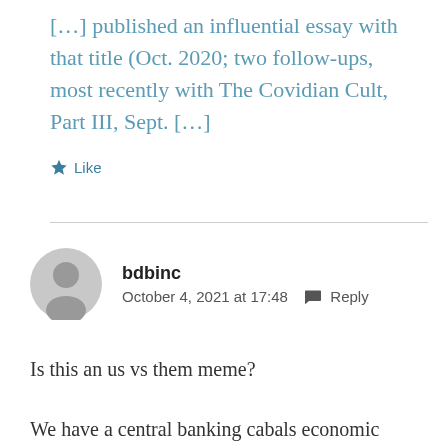[…] published an influential essay with that title (Oct. 2020; two follow-ups, most recently with The Covidian Cult, Part III, Sept. […]
★ Like
bdbinc
October 4, 2021 at 17:48  💬 Reply
Is this an us vs them meme?
We have a central banking cabals economic